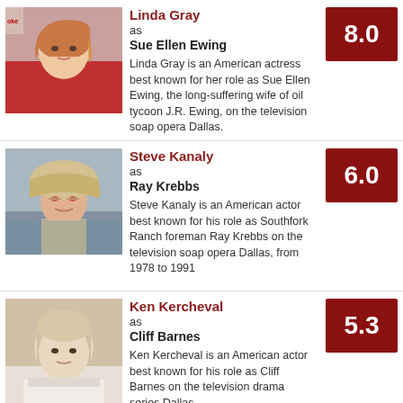Linda Gray as Sue Ellen Ewing — Score: 8.0. Linda Gray is an American actress best known for her role as Sue Ellen Ewing, the long-suffering wife of oil tycoon J.R. Ewing, on the television soap opera Dallas.
Steve Kanaly as Ray Krebbs — Score: 6.0. Steve Kanaly is an American actor best known for his role as Southfork Ranch foreman Ray Krebbs on the television soap opera Dallas, from 1978 to 1991
Ken Kercheval as Cliff Barnes — Score: 5.3. Ken Kercheval is an American actor best known for his role as Cliff Barnes on the television drama series Dallas